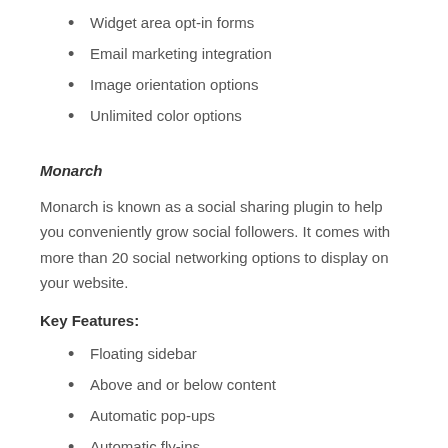Widget area opt-in forms
Email marketing integration
Image orientation options
Unlimited color options
Monarch
Monarch is known as a social sharing plugin to help you conveniently grow social followers. It comes with more than 20 social networking options to display on your website.
Key Features:
Floating sidebar
Above and or below content
Automatic pop-ups
Automatic fly-ins